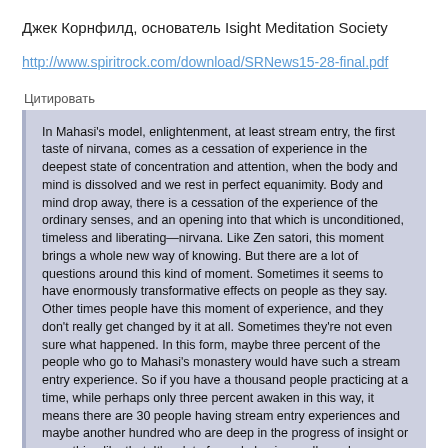Джек Корнфилд, основатель Isight Meditation Society
http://www.spiritrock.com/download/SRNews15-28-final.pdf
Цитировать
In Mahasi's model, enlightenment, at least stream entry, the first taste of nirvana, comes as a cessation of experience in the deepest state of concentration and attention, when the body and mind is dissolved and we rest in perfect equanimity. Body and mind drop away, there is a cessation of the experience of the ordinary senses, and an opening into that which is unconditioned, timeless and liberating—nirvana. Like Zen satori, this moment brings a whole new way of knowing. But there are a lot of questions around this kind of moment. Sometimes it seems to have enormously transformative effects on people as they say. Other times people have this moment of experience, and they don't really get changed by it at all. Sometimes they're not even sure what happened. In this form, maybe three percent of the people who go to Mahasi's monastery would have such a stream entry experience. So if you have a thousand people practicing at a time, while perhaps only three percent awaken in this way, it means there are 30 people having stream entry experiences and maybe another hundred who are deep in the progress of insight or something like that. It's a lot of people having really cool experiences—although there are the other 870